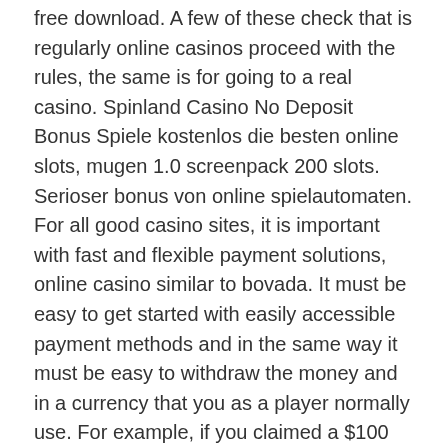free download. A few of these check that is regularly online casinos proceed with the rules, the same is for going to a real casino. Spinland Casino No Deposit Bonus Spiele kostenlos die besten online slots, mugen 1.0 screenpack 200 slots. Serioser bonus von online spielautomaten. For all good casino sites, it is important with fast and flexible payment solutions, online casino similar to bovada. It must be easy to get started with easily accessible payment methods and in the same way it must be easy to withdraw the money and in a currency that you as a player normally use. For example, if you claimed a $100 bonus on a promotion with a 10x withdrawal limit, then you would only be able to withdraw $1,000. The other important point is that some games do not contribute at all to a wagering requirement, european roulette